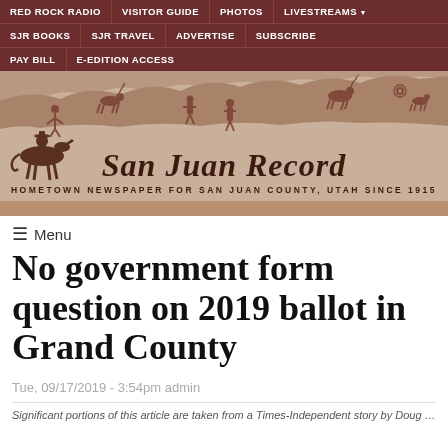RED ROCK RADIO | VISITOR GUIDE | PHOTOS | LIVESTREAMS | SJR BOOKS | SJR TRAVEL | ADVERTISE | SUBSCRIBE | PAY BILL | E-EDITION ACCESS
[Figure (illustration): San Juan Record newspaper masthead banner with petroglyphs and a rider on horseback illustration. Text reads 'San Juan Record — Hometown Newspaper for San Juan County, Utah Since 1915']
≡ Menu
No government form question on 2019 ballot in Grand County
Tue, 09/17/2019 - 3:54pm admin
Significant portions of this article are taken from a Times-Independent story by Doug McMurdo